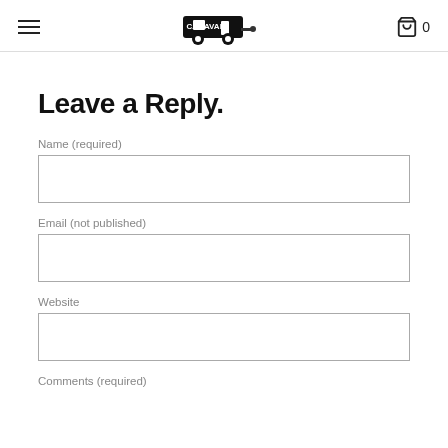Caravan (logo) — navigation header with hamburger menu and shopping cart with 0 items
Leave a Reply.
Name (required)
Email (not published)
Website
Comments (required)